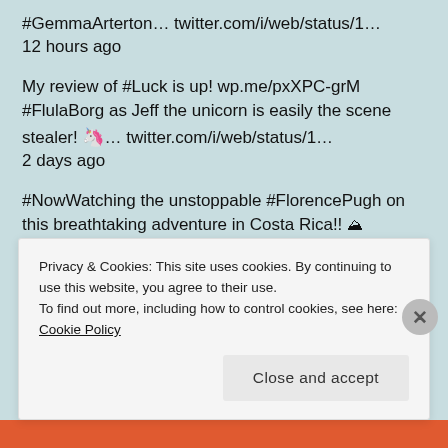#GemmaArterton… twitter.com/i/web/status/1… 12 hours ago
My review of #Luck is up! wp.me/pxXPC-grM #FlulaBorg as Jeff the unicorn is easily the scene stealer! 🦄… twitter.com/i/web/status/1… 2 days ago
#NowWatching the unstoppable #FlorencePugh on this breathtaking adventure in Costa Rica!! ⛰ twitter.com/RunningWildwBG… 2 days ago
Watched two animated movies back to back this
Privacy & Cookies: This site uses cookies. By continuing to use this website, you agree to their use.
To find out more, including how to control cookies, see here: Cookie Policy
Close and accept